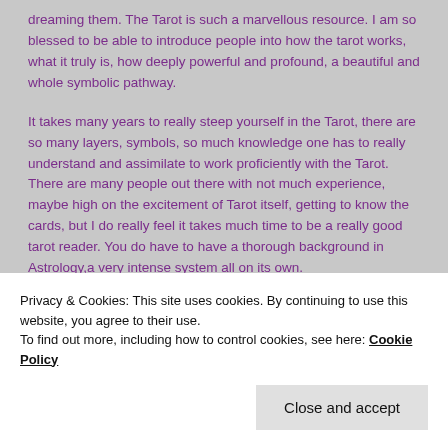dreaming them. The Tarot is such a marvellous resource. I am so blessed to be able to introduce people into how the tarot works, what it truly is, how deeply powerful and profound, a beautiful and whole symbolic pathway.
It takes many years to really steep yourself in the Tarot, there are so many layers, symbols, so much knowledge one has to really understand and assimilate to work proficiently with the Tarot. There are many people out there with not much experience, maybe high on the excitement of Tarot itself, getting to know the cards, but I do really feel it takes much time to be a really good tarot reader. You do have to have a thorough background in Astrology,a very intense system all on its own.
Privacy & Cookies: This site uses cookies. By continuing to use this website, you agree to their use.
To find out more, including how to control cookies, see here: Cookie Policy
Close and accept